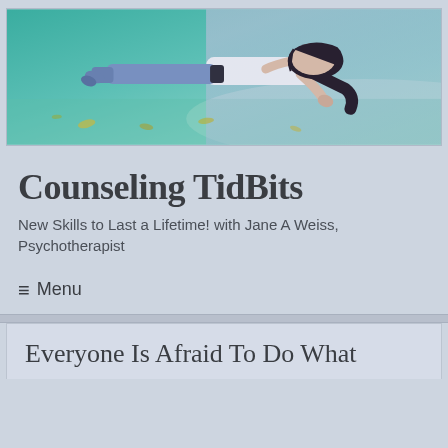[Figure (photo): A person floating/hovering horizontally above a teal-green ground with leaves scattered around, wearing jeans and a white top with dark hair, surreal artistic photo used as website banner for Counseling TidBits.]
Counseling TidBits
New Skills to Last a Lifetime! with Jane A Weiss, Psychotherapist
≡ Menu
Everyone Is Afraid To Do What